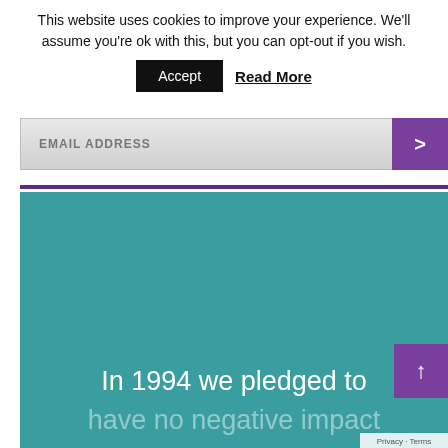This website uses cookies to improve your experience. We'll assume you're ok with this, but you can opt-out if you wish.
Accept   Read More
EMAIL ADDRESS
In 1994 we pledged to have no negative impact